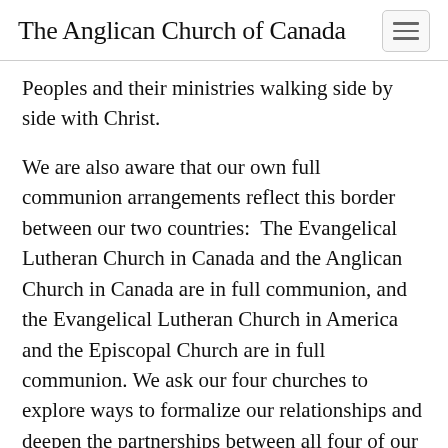The Anglican Church of Canada
Peoples and their ministries walking side by side with Christ.
We are also aware that our own full communion arrangements reflect this border between our two countries:  The Evangelical Lutheran Church in Canada and the Anglican Church in Canada are in full communion, and the Evangelical Lutheran Church in America and the Episcopal Church are in full communion. We ask our four churches to explore ways to formalize our relationships and deepen the partnerships between all four of our churches. So the border of fellowship S...